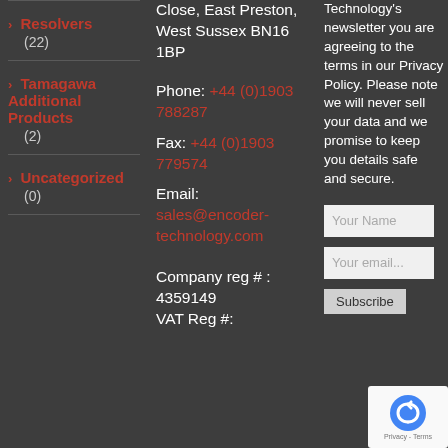> Resolvers (22)
> Tamagawa Additional Products (2)
> Uncategorized (0)
Close, East Preston, West Sussex BN16 1BP
Phone: +44 (0)1903 788287
Fax: +44 (0)1903 779574
Email: sales@encoder-technology.com
Company reg # : 4359149
VAT Reg #:
Technology's newsletter you are agreeing to the terms in our Privacy Policy. Please note we will never sell your data and we promise to keep you details safe and secure.
Your Name
Your email...
Subscribe